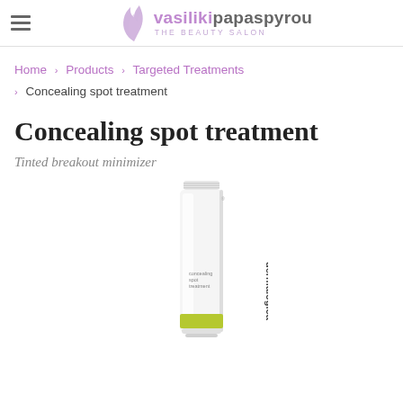vasiliki papaspyrou THE BEAUTY SALON
Home > Products > Targeted Treatments > Concealing spot treatment
Concealing spot treatment
Tinted breakout minimizer
[Figure (photo): White tube of Dermalogica Concealing Spot Treatment product with green accent label at the bottom, photographed upright against a white background]